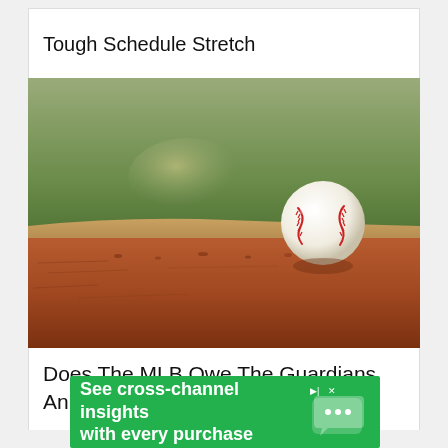Tough Schedule Stretch
[Figure (photo): A baseball resting on a pitcher's mound rubber, with blurred green grass field in background and reddish-brown dirt in foreground.]
Does The MLB Owe The Guardians An Apology?
[Figure (other): Advertisement banner: 'See cross-channel insights with every purchase' on green background with chat bubble icon and navigation controls (play/close).]